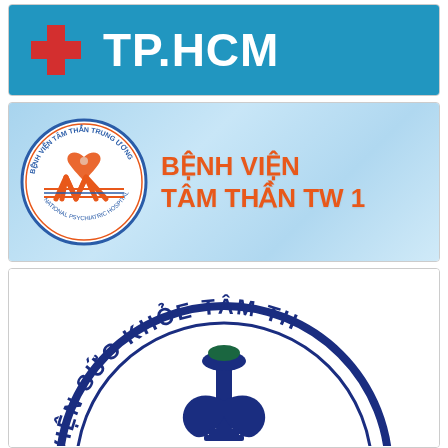[Figure (logo): Blue banner with red medical cross symbol and white text 'TP.HCM' - Ho Chi Minh City health logo]
[Figure (logo): Light blue banner with circular W logo for National Psychiatric Hospital No.1 and orange text 'BENH VIEN TAM THAN TW 1']
[Figure (logo): Partial circular seal in dark blue with text 'VIEN SUC KHOE TAM THA...' and a medical torch/lamp symbol in center]